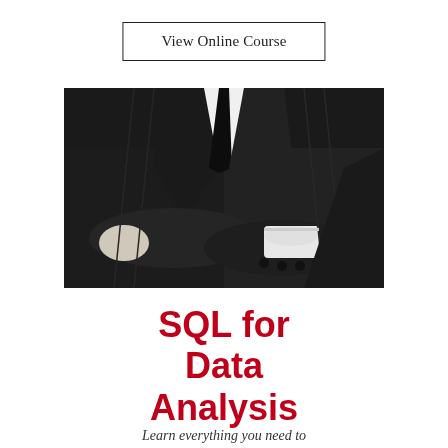View Online Course
[Figure (photo): Person in a black suit with arms crossed, showing white dress shirt cuffs and suit buttons, photographed from the chest down against a white/light background.]
SQL for Data Analysis
Learn everything you need to